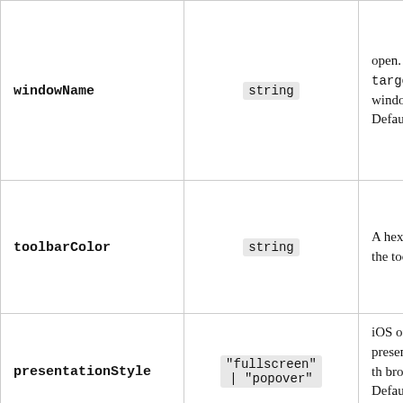| Parameter | Type | Description |
| --- | --- | --- |
| windowName | string | open. Foll the target property f window.op Defaults t _blank |
| toolbarColor | string | A hex colo to set the toolbar co to. |
| presentationStyle | "fullscreen" | "popover" | iOS only: presentat style of th browser. Defaults t fullscree |